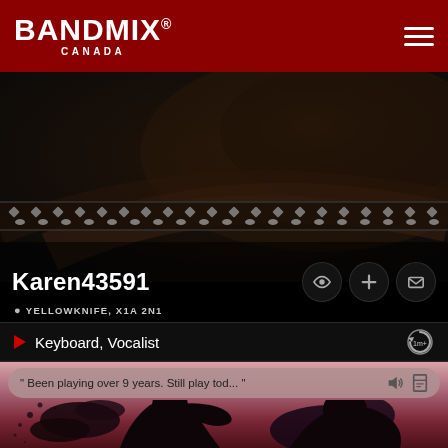BANDMIX® CANADA
[Figure (photo): Dark close-up photo of a studded leather hat or belt with decorative metal studs, serving as profile banner/hero image]
Karen43591
YELLOWKNIFE, X1A 2N1
Keyboard, Vocalist
" Been playing over 9 years. Still play tod... "
[Figure (illustration): Silhouette of a person with splatter/grunge art effect against a dark red gradient background]